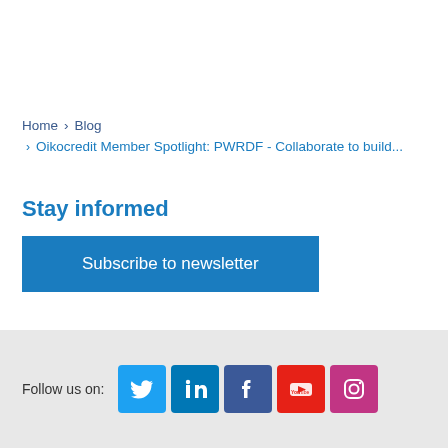Home › Blog
› Oikocredit Member Spotlight: PWRDF - Collaborate to build...
Stay informed
Subscribe to newsletter
Follow us on: [Twitter] [LinkedIn] [Facebook] [YouTube] [Instagram]